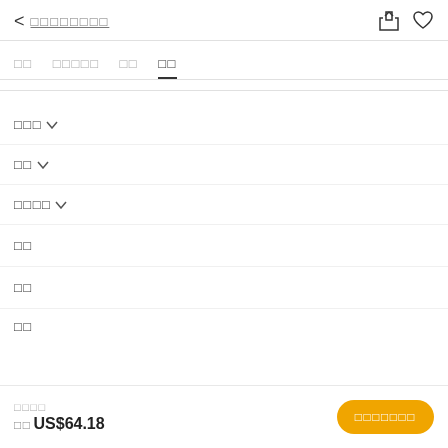< □□□□□□□□
□□  □□□□□  □□  □□
□□□ ∨
□□ ∨
□□□□ ∨
□□
□□
□□
□□□□  □□ US$64.18  □□□□□□□